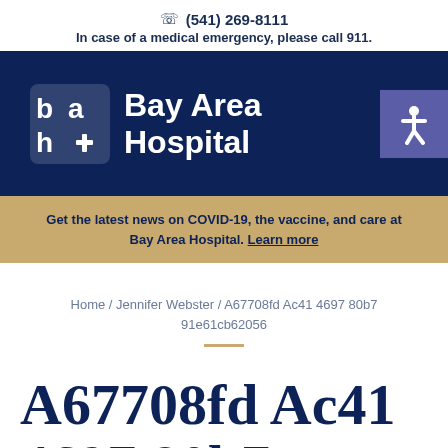(541) 269-8111
In case of a medical emergency, please call 911.
[Figure (logo): Bay Area Hospital logo with stylized 'bah' icon in white on dark navy background, with text 'Bay Area Hospital' in white. Purple accessibility icon button on right.]
Get the latest news on COVID-19, the vaccine, and care at Bay Area Hospital. Learn more
Home / Jennifer Webster / A67708fd Ac41 4697 80b7 91e61cb62056
A67708fd Ac41 4697 80b7